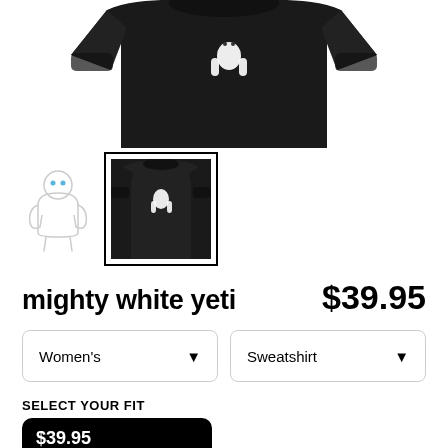[Figure (photo): Product photo of a black sweatshirt with white yeti graphic on chest, cropped to show upper portion]
[Figure (illustration): Small thumbnail: outline illustration of white yeti character]
[Figure (photo): Small thumbnail (selected/active): black sweatshirt with white yeti graphic, selected with black border]
mighty white yeti
$39.95
Women's
Sweatshirt
SELECT YOUR FIT
$39.95
French Terry